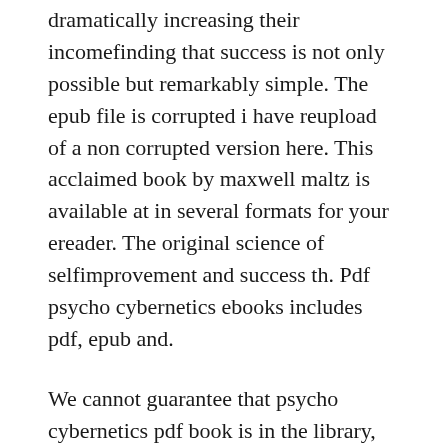dramatically increasing their incomefinding that success is not only possible but remarkably simple. The epub file is corrupted i have reupload of a non corrupted version here. This acclaimed book by maxwell maltz is available at in several formats for your ereader. The original science of selfimprovement and success th. Pdf psycho cybernetics ebooks includes pdf, epub and.
We cannot guarantee that psycho cybernetics pdf book is in the library, but if you are still not sure with the service, you can choose free